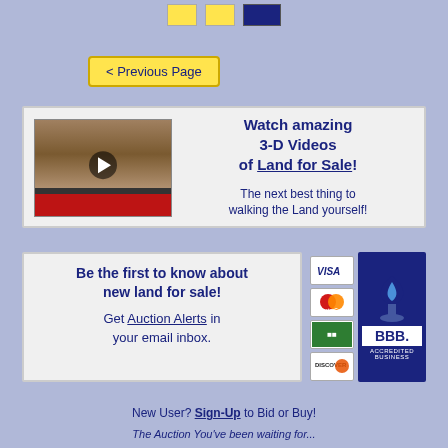[Figure (other): Navigation buttons: two yellow squares and one dark blue rectangle]
< Previous Page
[Figure (screenshot): Video thumbnail showing aerial landscape view with play button, red bar at bottom]
Watch amazing 3-D Videos of Land for Sale! The next best thing to walking the Land yourself!
Be the first to know about new land for sale! Get Auction Alerts in your email inbox.
[Figure (other): Credit card icons: Visa, MasterCard, green card, Discover]
[Figure (logo): BBB Accredited Business logo]
New User? Sign-Up to Bid or Buy!
The Auction You've been waiting for...